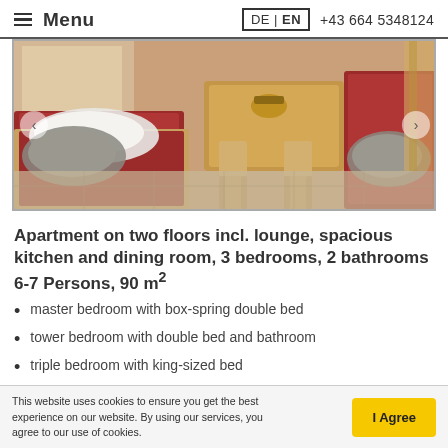≡ Menu   DE | EN   +43 664 5348124
[Figure (photo): Interior photo of an alpine apartment showing a red cushioned bench/seating area, wooden dining table and chairs, fur cushions, and warm lighting.]
Apartment on two floors incl. lounge, spacious kitchen and dining room, 3 bedrooms, 2 bathrooms 6-7 Persons, 90 m²
master bedroom with box-spring double bed
tower bedroom with double bed and bathroom
triple bedroom with king-sized bed
spacious kitchen and dining room with dishwasher (partially visible, cut off)
This website uses cookies to ensure you get the best experience on our website. By using our services, you agree to our use of cookies.